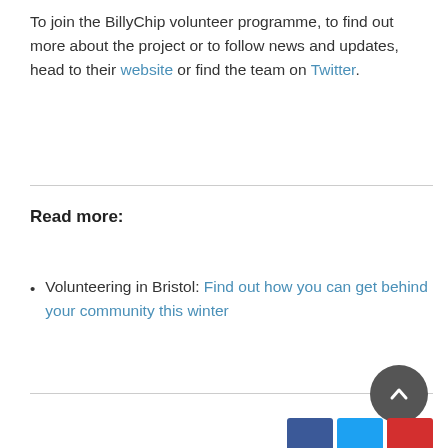To join the BillyChip volunteer programme, to find out more about the project or to follow news and updates, head to their website or find the team on Twitter.
Read more:
Volunteering in Bristol: Find out how you can get behind your community this winter